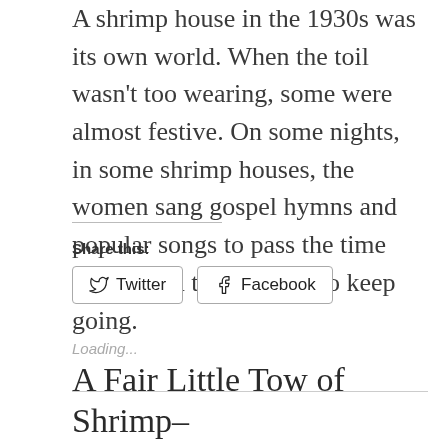A shrimp house in the 1930s was its own world. When the toil wasn't too wearing, some were almost festive. On some nights, in some shrimp houses, the women sang gospel hymns and popular songs to pass the time and to find the strength to keep going.
Share this:
Twitter
Facebook
Loading...
A Fair Little Tow of Shrimp–